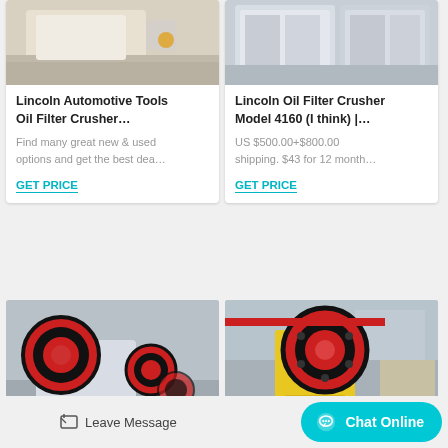[Figure (photo): Industrial jaw crusher machine, beige/white color, viewed from side, in warehouse]
Lincoln Automotive Tools Oil Filter Crusher…
Find many great new & used options and get the best dea…
GET PRICE
[Figure (photo): Industrial crusher machine, white/grey color, in factory setting]
Lincoln Oil Filter Crusher Model 4160 (I think) |…
US $500.00+$800.00 shipping. $43 for 12 month…
GET PRICE
[Figure (photo): Industrial jaw crusher with large red and black flywheel, white body, in factory]
[Figure (photo): Industrial jaw crusher with yellow body and red/black flywheel in large factory hall]
Leave Message
Chat Online